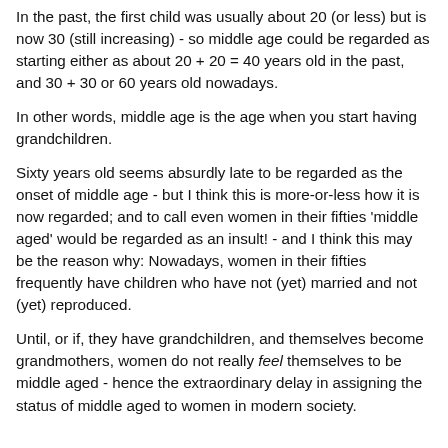In the past, the first child was usually about 20 (or less) but is now 30 (still increasing) - so middle age could be regarded as starting either as about 20 + 20 = 40 years old in the past, and 30 + 30 or 60 years old nowadays.
In other words, middle age is the age when you start having grandchildren.
Sixty years old seems absurdly late to be regarded as the onset of middle age - but I think this is more-or-less how it is now regarded; and to call even women in their fifties 'middle aged' would be regarded as an insult! - and I think this may be the reason why: Nowadays, women in their fifties frequently have children who have not (yet) married and not (yet) reproduced.
Until, or if, they have grandchildren, and themselves become grandmothers, women do not really feel themselves to be middle aged - hence the extraordinary delay in assigning the status of middle aged to women in modern society.